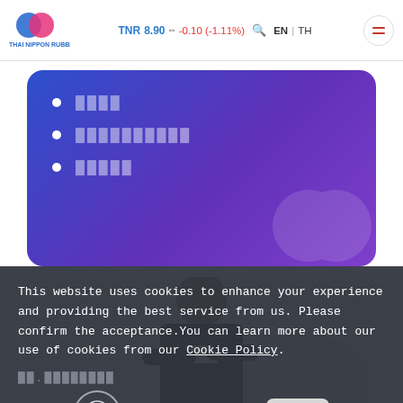TNR 8.90 -0.10 (-1.11%) EN | TH
████
██████████
█████
[Figure (photo): Professional person in business suit with arms crossed, photographed against light background]
This website uses cookies to enhance your experience and providing the best service from us. Please confirm the acceptance.You can learn more about our use of cookies from our Cookie Policy.
Cookie Settings
████